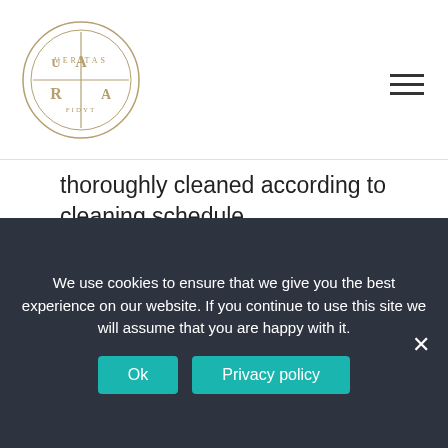Veritas Aura logo and navigation
thoroughly cleaned according to cleaning schedule.
OBJECTIVES
To be directly responsible to the head housekeeper.
The vacuuming of rooms and corridors and emptying all waste bins
Cleaning the glass and mirrors
We use cookies to ensure that we give you the best experience on our website. If you continue to use this site we will assume that you are happy with it.